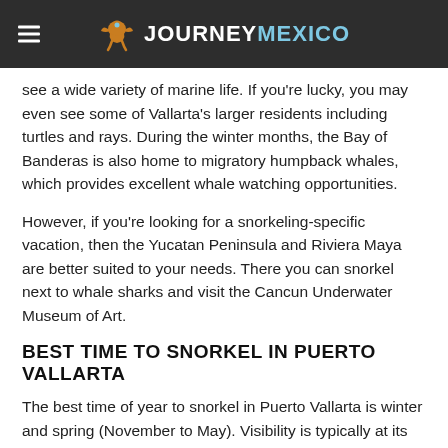JOURNEY MEXICO
see a wide variety of marine life. If you're lucky, you may even see some of Vallarta's larger residents including turtles and rays. During the winter months, the Bay of Banderas is also home to migratory humpback whales, which provides excellent whale watching opportunities.
However, if you're looking for a snorkeling-specific vacation, then the Yucatan Peninsula and Riviera Maya are better suited to your needs. There you can snorkel next to whale sharks and visit the Cancun Underwater Museum of Art.
BEST TIME TO SNORKEL IN PUERTO VALLARTA
The best time of year to snorkel in Puerto Vallarta is winter and spring (November to May). Visibility is typically at its best around this time, thanks to a lack of rain and calmer waters. The sea temperature is slightly cooler – around 65°F (18°C) to 75°F (24°C) – but still comfortable.
When you start moving away from the coast to the